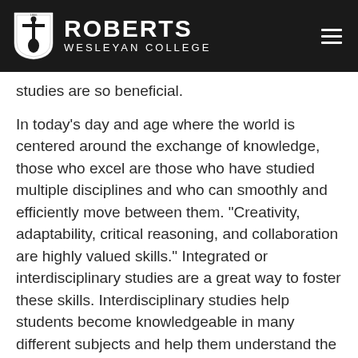[Figure (logo): Roberts Wesleyan College logo with shield emblem on dark header bar]
studies are so beneficial.
In today's day and age where the world is centered around the exchange of knowledge, those who excel are those who have studied multiple disciplines and who can smoothly and efficiently move between them. "Creativity, adaptability, critical reasoning, and collaboration are highly valued skills." Integrated or interdisciplinary studies are a great way to foster these skills. Interdisciplinary studies help students become knowledgeable in many different subjects and help them understand the relationship of each area and its role in the world.
It helps students develop a more complete and detailed understanding of the multiplexity and interconnectedness of a given topic. Interdisciplinary studies also make a